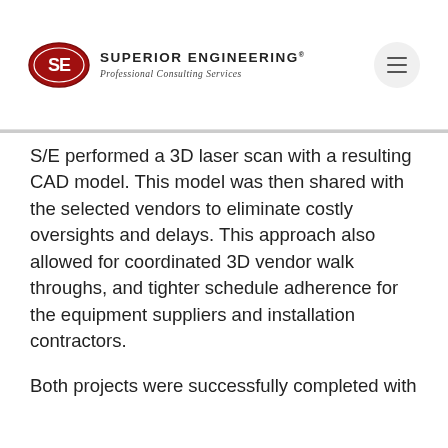Superior Engineering - Professional Consulting Services
S/E performed a 3D laser scan with a resulting CAD model. This model was then shared with the selected vendors to eliminate costly oversights and delays. This approach also allowed for coordinated 3D vendor walk throughs, and tighter schedule adherence for the equipment suppliers and installation contractors.
Both projects were successfully completed with